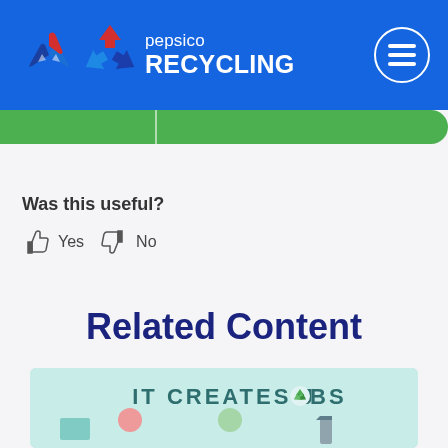pepsico RECYCLING
[Figure (screenshot): Green navigation bar with two sections separated by a vertical divider]
Was this useful?
[Figure (illustration): Thumbs up icon followed by Yes text, and thumbs down icon followed by No text]
Related Content
[Figure (illustration): Illustration with text IT CREATES JOBS with recycling icons and illustrated characters]